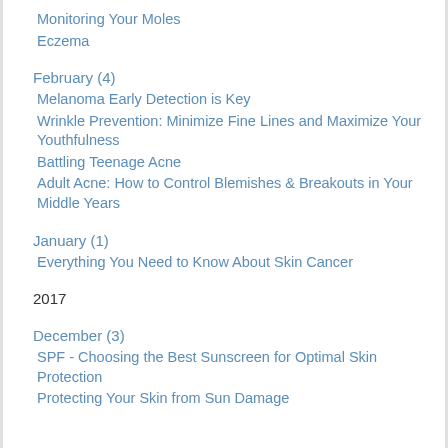Monitoring Your Moles
Eczema
February (4)
Melanoma Early Detection is Key
Wrinkle Prevention: Minimize Fine Lines and Maximize Your Youthfulness
Battling Teenage Acne
Adult Acne: How to Control Blemishes & Breakouts in Your Middle Years
January (1)
Everything You Need to Know About Skin Cancer
2017
December (3)
SPF - Choosing the Best Sunscreen for Optimal Skin Protection
Protecting Your Skin from Sun Damage